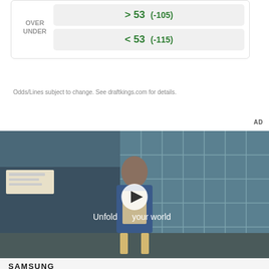|  | Odds |
| --- | --- |
| OVER | > 53  (-105) |
| UNDER | < 53  (-115) |
Odds/Lines subject to change. See draftkings.com for details.
AD
[Figure (photo): Samsung advertisement video still showing a young man in a denim jacket standing in a cafeteria-like setting with large teal/blue windows in the background. A play button overlay is visible in the center. Text on image reads 'Unfold your world'.]
SAMSUNG
Bring all your devices into the fold